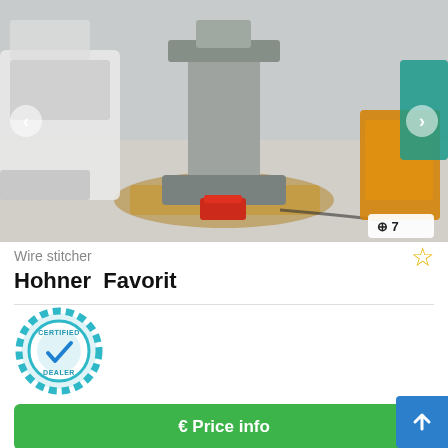[Figure (photo): Industrial wire stitching machine (Hohner Favorit) sitting on a wooden pallet in a factory/warehouse environment. Machine is gray/silver metal. A red component is visible at the base. Other machinery visible in background including a teal machine on the right.]
Wire stitcher
Hohner  Favorit
[Figure (logo): Certified Dealer badge: circular gear-shaped badge with teal/blue coloring, checkmark in center, text 'CERTIFIED' at top and 'DEALER' at bottom]
€ Price info
✆ Call
➤ Save search query